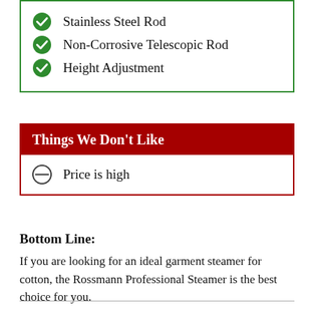Stainless Steel Rod
Non-Corrosive Telescopic Rod
Height Adjustment
Things We Don't Like
Price is high
Bottom Line:
If you are looking for an ideal garment steamer for cotton, the Rossmann Professional Steamer is the best choice for you.